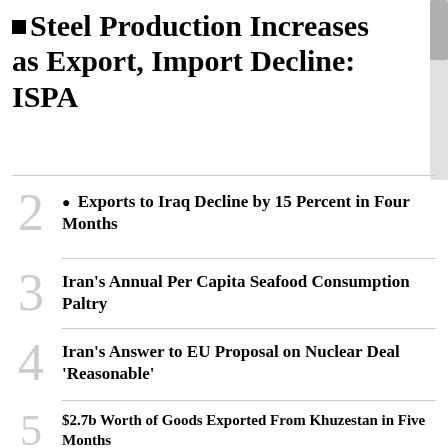Steel Production Increases as Export, Import Decline: ISPA
Exports to Iraq Decline by 15 Percent in Four Months
Iran's Annual Per Capita Seafood Consumption Paltry
Iran's Answer to EU Proposal on Nuclear Deal 'Reasonable'
$2.7b Worth of Goods Exported From Khuzestan in Five Months
Currencies, Gold Jump in Tehran